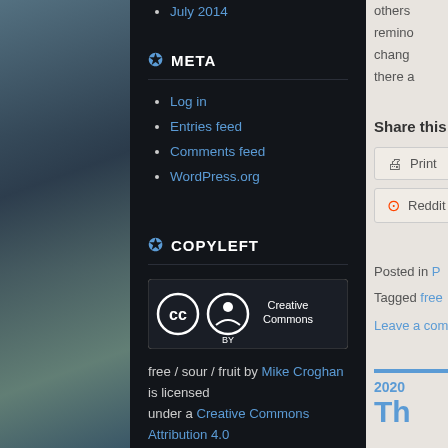July 2014
META
Log in
Entries feed
Comments feed
WordPress.org
COPYLEFT
[Figure (logo): Creative Commons CC BY license badge]
free / sour / fruit by Mike Croghan is licensed under a Creative Commons Attribution 4.0 International License
others remind chang there a
Share this
Print
Reddit
Posted in P Tagged free Leave a com
2020 Th